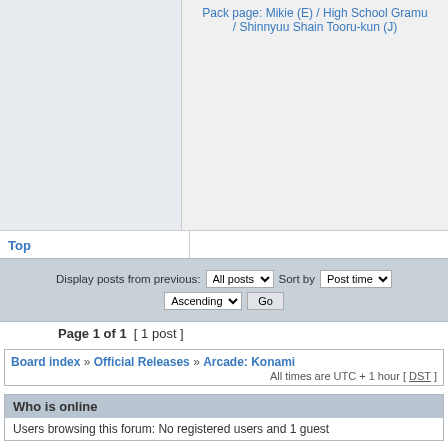Pack page: Mikie (E) / High School Gramu / Shinnyuu Shain Tooru-kun (J)
Top
Display posts from previous: All posts  Sort by Post time  Ascending  Go
Page 1 of 1  [ 1 post ]
Board index » Official Releases » Arcade: Konami   All times are UTC + 1 hour [ DST ]
Who is online
Users browsing this forum: No registered users and 1 guest
You cannot post new topics in this forum
You cannot reply to topics in this forum
You cannot edit your posts in this forum
You cannot delete your posts in this forum
You cannot post attachments in this forum
Search for:   Jump to: Arcade: Konami  Go
Powered by phpBB® Forum Software © phpBB Group
[ Time : 0.019s | 14 Queries | GZIP : On ]